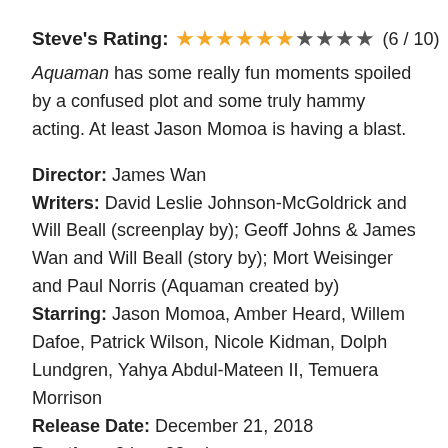Steve's Rating: ★★★★★★ ☆☆☆☆ (6 / 10)
Aquaman has some really fun moments spoiled by a confused plot and some truly hammy acting. At least Jason Momoa is having a blast.
Director: James Wan
Writers: David Leslie Johnson-McGoldrick and Will Beall (screenplay by); Geoff Johns & James Wan and Will Beall (story by); Mort Weisinger and Paul Norris (Aquaman created by)
Starring: Jason Momoa, Amber Heard, Willem Dafoe, Patrick Wilson, Nicole Kidman, Dolph Lundgren, Yahya Abdul-Mateen II, Temuera Morrison
Release Date: December 21, 2018
Runtime: 2 hrs. 23 mins.